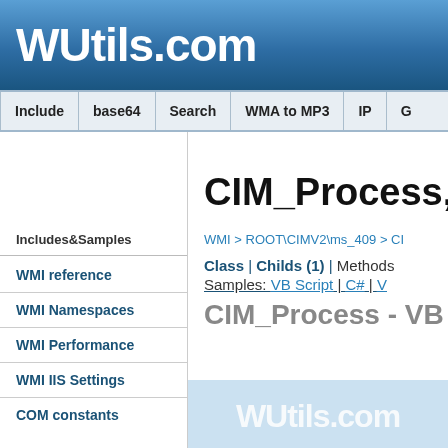WUtils.com
Include | base64 | Search | WMA to MP3 | IP | G
Includes&Samples
WMI reference
WMI Namespaces
WMI Performance
WMI IIS Settings
COM constants
CIM_Process, RO
WMI > ROOT\CIMV2\ms_409 > CI
Class | Childs (1) | Methods
Samples: VB Script | C# | V
CIM_Process - VB S